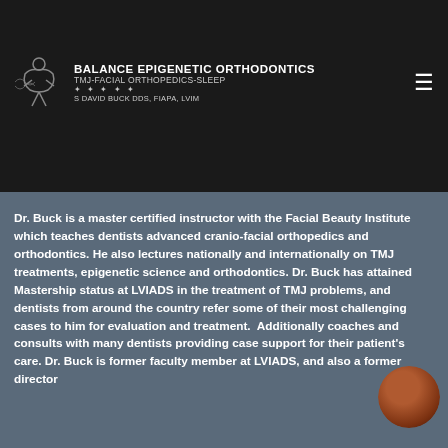orthodontics, from the elimination of chronic pain, to the cosmetic face-lift effects, to the restful nights' sleep... this is not orthodontics like your parents had. Epigenetic orthodontics is about a lifetime of health and a beautiful smile!
[Figure (logo): Balance Epigenetic Orthodontics logo with stylized B figure and text: Balance Epigenetic Orthodontics, TMJ-Facial Orthopedics-Sleep, S David Buck DDS, FIAPA, LVIM]
Dr. Buck is a master certified instructor with the Facial Beauty Institute which teaches dentists advanced cranio-facial orthopedics and orthodontics. He also lectures nationally and internationally on TMJ treatments, epigenetic science and orthodontics. Dr. Buck has attained Mastership status at LVIADS in the treatment of TMJ problems, and dentists from around the country refer some of their most challenging cases to him for evaluation and treatment. Additionally coaches and consults with many dentists providing case support for their patient's care. Dr. Buck is former faculty member at LVIADS, and also a former director
[Figure (photo): Circular portrait photo of a woman with reddish-brown hair, smiling, positioned in the lower right corner]